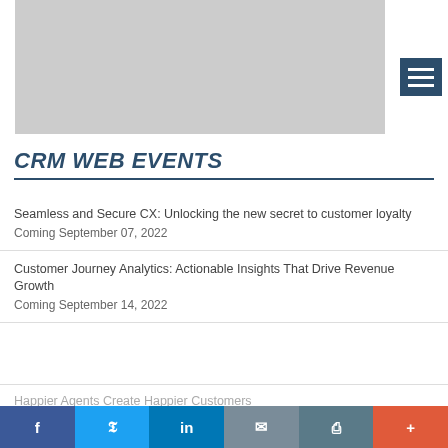[Figure (other): Gray placeholder image at top of page]
CRM WEB EVENTS
Seamless and Secure CX: Unlocking the new secret to customer loyalty
Coming September 07, 2022
Customer Journey Analytics: Actionable Insights That Drive Revenue Growth
Coming September 14, 2022
Happier Agents Create Happier Customers